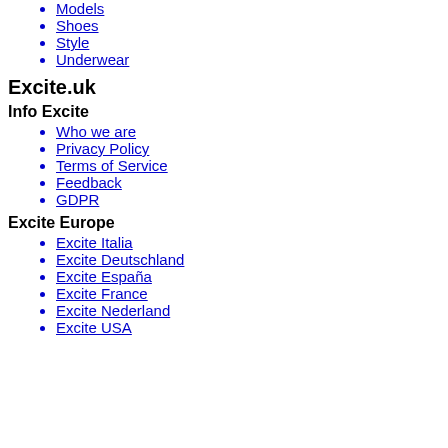Models
Shoes
Style
Underwear
Excite.uk
Info Excite
Who we are
Privacy Policy
Terms of Service
Feedback
GDPR
Excite Europe
Excite Italia
Excite Deutschland
Excite España
Excite France
Excite Nederland
Excite USA